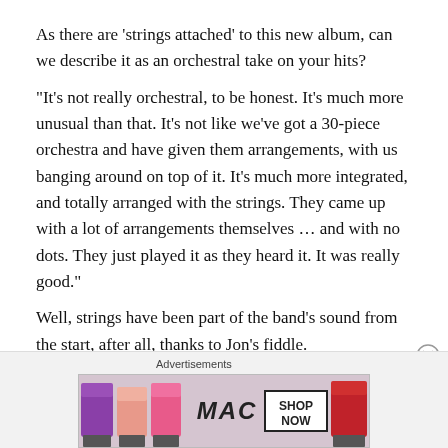As there are ‘strings attached’ to this new album, can we describe it as an orchestral take on your hits?
“It’s not really orchestral, to be honest. It’s much more unusual than that. It’s not like we’ve got a 30-piece orchestra and have given them arrangements, with us banging around on top of it. It’s much more integrated, and totally arranged with the strings. They came up with a lot of arrangements themselves … and with no dots. They just played it as they heard it. It was really good.”
Well, strings have been part of the band’s sound from the start, after all, thanks to Jon’s fiddle.
[Figure (other): MAC Cosmetics advertisement banner showing lipsticks and a SHOP NOW call to action box]